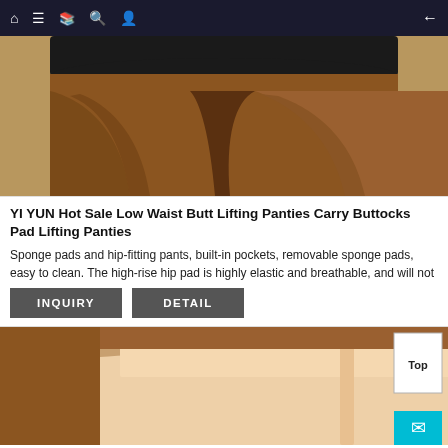Navigation bar with home, menu, book, search, profile icons and back arrow
[Figure (photo): Close-up photo of dark-skinned legs wearing black shorts/panties, viewed from behind, showing upper thigh area. Product photo for butt lifting panties.]
YI YUN Hot Sale Low Waist Butt Lifting Panties Carry Buttocks Pad Lifting Panties
Sponge pads and hip-fitting pants, built-in pockets, removable sponge pads, easy to clean. The high-rise hip pad is highly elastic and breathable, and will not
INQUIRY
DETAIL
[Figure (photo): Close-up photo of dark-skinned person wearing beige/nude colored high-waist shapewear/panties, showing torso and upper thighs from front/side view.]